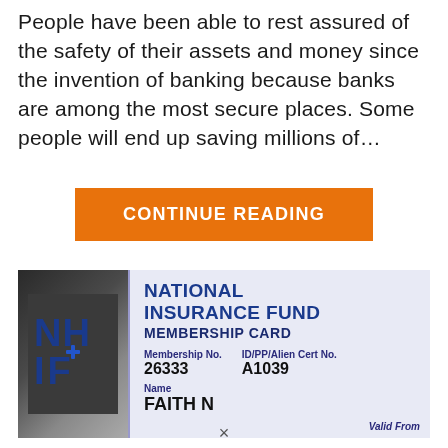People have been able to rest assured of the safety of their assets and money since the invention of banking because banks are among the most secure places. Some people will end up saving millions of...
CONTINUE READING
[Figure (photo): Photo of a National Insurance Fund (NHIF) Membership Card showing Membership No. 26333, ID/PP/Alien Cert No. A1039, Name: FAITH N, Valid From label visible]
×